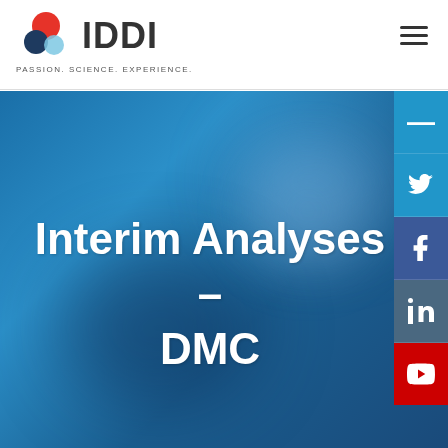[Figure (logo): IDDI logo with overlapping red, dark blue, and light blue circles. Text reads IDDI with tagline PASSION. SCIENCE. EXPERIENCE.]
Interim Analyses – DMC
[Figure (illustration): Social media sidebar with Twitter (blue), Facebook (dark blue), LinkedIn (steel blue), and YouTube (red) icon buttons on the right edge of the page.]